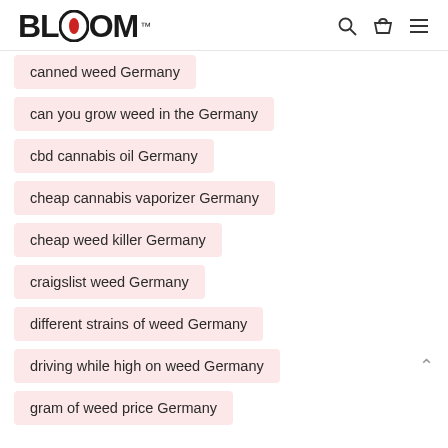BLOOM™
canned weed Germany
can you grow weed in the Germany
cbd cannabis oil Germany
cheap cannabis vaporizer Germany
cheap weed killer Germany
craigslist weed Germany
different strains of weed Germany
driving while high on weed Germany
gram of weed price Germany